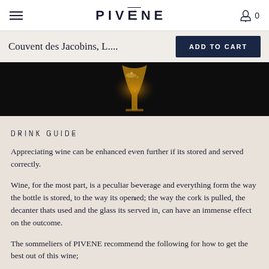PIVENE
Couvent des Jacobins, L....
[Figure (photo): Close-up photo of a wine glass with amber/rose champagne, illuminated against a dark background]
DRINK GUIDE
Appreciating wine can be enhanced even further if its stored and served correctly.
Wine, for the most part, is a peculiar beverage and everything form the way the bottle is stored, to the way its opened; the way the cork is pulled, the decanter thats used and the glass its served in, can have an immense effect on the outcome.
The sommeliers of PIVENE recommend the following for how to get the best out of this wine;